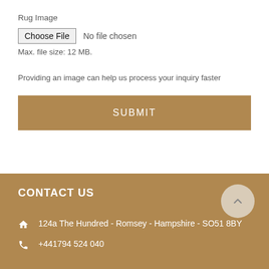Rug Image
Choose File  No file chosen
Max. file size: 12 MB.
Providing an image can help us process your inquiry faster
SUBMIT
CONTACT US
124a The Hundred - Romsey - Hampshire - SO51 8BY
+441794 524 040